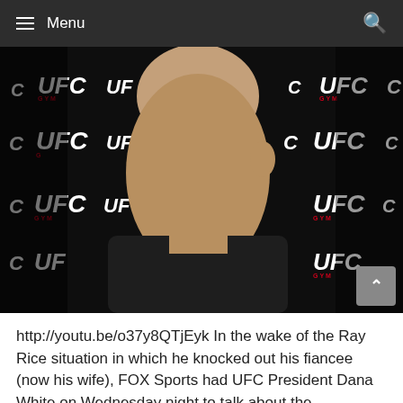≡ Menu
[Figure (photo): A bald man (Dana White, UFC President) being interviewed in front of a UFC GYM branded backdrop with repeating UFC logos]
http://youtu.be/o37y8QTjEyk In the wake of the Ray Rice situation in which he knocked out his fiancee (now his wife), FOX Sports had UFC President Dana White on Wednesday night to talk about the promotion's own stance on